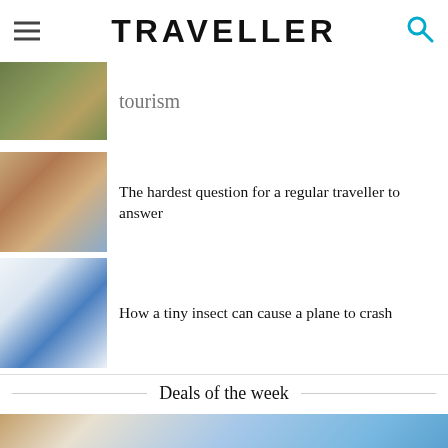TRAVELLER
tourism
The hardest question for a regular traveller to answer
How a tiny insect can cause a plane to crash
Deals of the week
[Figure (photo): Travel deals banner image showing landscape with blue sky and mountains]
SHARE